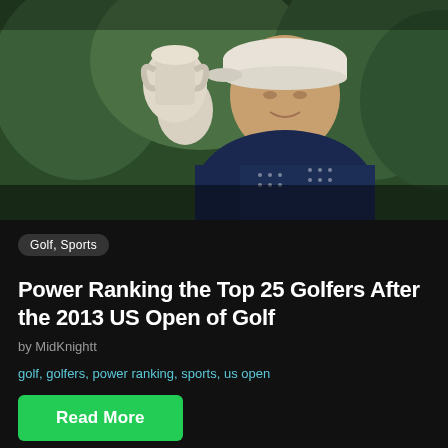[Figure (photo): Golfer holding a large silver trophy cup aloft, wearing a navy blue patterned polo shirt and white cap with TaylorMade logo, smiling, with trees in background]
Golf, Sports
Power Ranking the Top 25 Golfers After the 2013 US Open of Golf
by MidKnightt
golf, golfers, power ranking, sports, us open
Read More